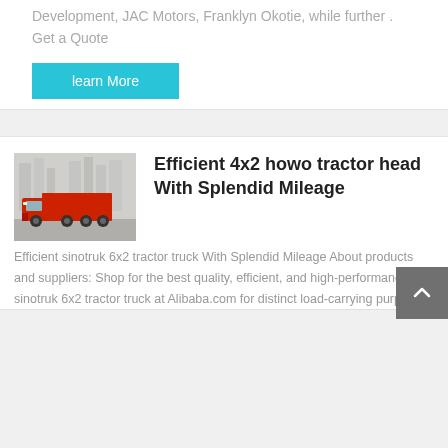Development, JAC Motors, Franklyn Okotie, while further . Get a Quote
learn More
[Figure (photo): Red dump truck (howo tractor) on a road with city buildings in background]
Efficient 4x2 howo tractor head With Splendid Mileage
Efficient sinotruk 6x2 tractor truck With Splendid Mileage About products and suppliers: Shop for the best quality, efficient, and high-performance. sinotruk 6x2 tractor truck at Alibaba.com for distinct load-carrying purposes.